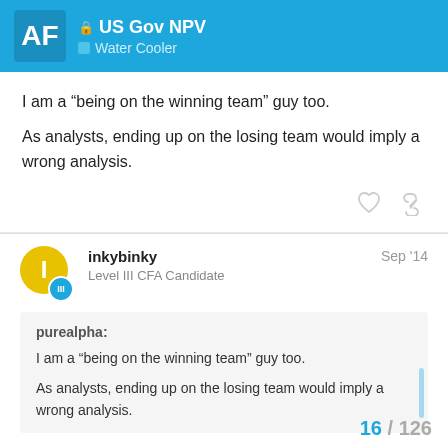US Gov NPV — Water Cooler
I am a “being on the winning team” guy too.

As analysts, ending up on the losing team would imply a wrong analysis.
inkybinky — Level III CFA Candidate — Sep '14
purealpha:

I am a “being on the winning team” guy too.

As analysts, ending up on the losing team would imply a wrong analysis.
16 / 126